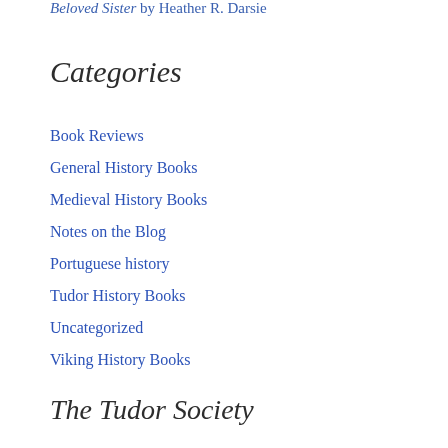Beloved Sister by Heather R. Darsie
Categories
Book Reviews
General History Books
Medieval History Books
Notes on the Blog
Portuguese history
Tudor History Books
Uncategorized
Viking History Books
The Tudor Society